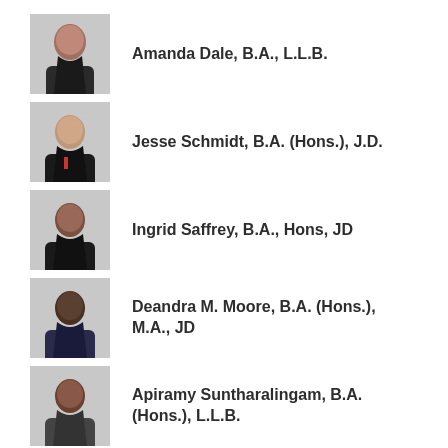[Figure (photo): Headshot of Amanda Dale, professional photo]
Amanda Dale, B.A., L.L.B.
[Figure (photo): Headshot of Jesse Schmidt, professional photo]
Jesse Schmidt, B.A. (Hons.), J.D.
[Figure (photo): Headshot of Ingrid Saffrey, professional photo]
Ingrid Saffrey, B.A., Hons, JD
[Figure (photo): Headshot of Deandra M. Moore, professional photo]
Deandra M. Moore, B.A. (Hons.), M.A., JD
[Figure (photo): Headshot of Apiramy Suntharalingam, professional photo]
Apiramy Suntharalingam, B.A. (Hons.), L.L.B.
[Figure (photo): Headshot of David Citron, professional photo]
David Citron, B.A., JD
[Figure (photo): Headshot of Adam Bovaird, professional photo]
Adam Bovaird